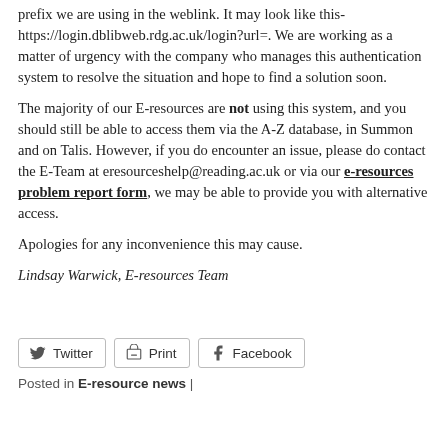prefix we are using in the weblink. It may look like this- https://login.dblibweb.rdg.ac.uk/login?url=. We are working as a matter of urgency with the company who manages this authentication system to resolve the situation and hope to find a solution soon.
The majority of our E-resources are not using this system, and you should still be able to access them via the A-Z database, in Summon and on Talis. However, if you do encounter an issue, please do contact the E-Team at eresourceshelp@reading.ac.uk or via our e-resources problem report form, we may be able to provide you with alternative access.
Apologies for any inconvenience this may cause.
Lindsay Warwick, E-resources Team
[Figure (other): Social sharing buttons: Twitter, Print, Facebook]
Posted in E-resource news |